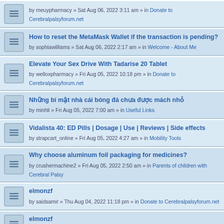by meuypharmacy » Sat Aug 06, 2022 3:11 am » in Donate to Cerebralpalsyforum.net
How to reset the MetaMask Wallet if the transaction is pending?
by sophiawilliams » Sat Aug 06, 2022 2:17 am » in Welcome - About Me
Elevate Your Sex Drive With Tadarise 20 Tablet
by welloxpharmacy » Fri Aug 05, 2022 10:18 pm » in Donate to Cerebralpalsyforum.net
Những bí mật nhà cái bóng đá chưa được mách nhỏ
by minhli » Fri Aug 05, 2022 7:00 am » in Useful Links
Vidalista 40: ED Pills | Dosage | Use | Reviews | Side effects
by strapcart_online » Fri Aug 05, 2022 4:27 am » in Mobility Tools
Why choose aluminum foil packaging for medicines?
by crushermachine2 » Fri Aug 05, 2022 2:50 am » in Parents of children with Cerebral Palsy
elmonzf
by saidsamir » Thu Aug 04, 2022 11:18 pm » in Donate to Cerebralpalsyforum.net
elmonzf
by saidsamir » Thu Aug 04, 2022 11:06 pm » in Useful Links
Top những nhà cái soi kèo uy tín nhất
by thanhle12 » Thu Aug 04, 2022 8:56 pm » in Useful Links
pg
by essentia231 » Thu Aug 04, 2022 11:15 am » in Donate to Cerebralpalsyforum.net
pg
by essentia231 » Thu Aug 04, 2022 4:48 am » in Donate to Cerebralpalsyforum.net